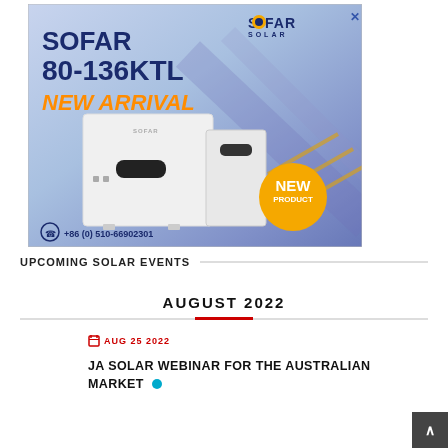[Figure (infographic): SOFAR Solar advertisement banner for SOFAR 80-136KTL inverter. Blue gradient background with white inverter device, NEW ARRIVAL text in orange italic, SOFAR SOLAR logo, NEW PRODUCT golden badge, and phone number +86 (0) 510-66902301.]
UPCOMING SOLAR EVENTS
AUGUST 2022
AUG 25 2022
JA SOLAR WEBINAR FOR THE AUSTRALIAN MARKET